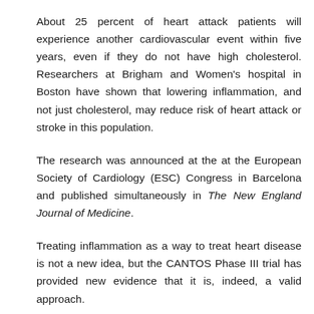About 25 percent of heart attack patients will experience another cardiovascular event within five years, even if they do not have high cholesterol. Researchers at Brigham and Women's hospital in Boston have shown that lowering inflammation, and not just cholesterol, may reduce risk of heart attack or stroke in this population.
The research was announced at the at the European Society of Cardiology (ESC) Congress in Barcelona and published simultaneously in The New England Journal of Medicine.
Treating inflammation as a way to treat heart disease is not a new idea, but the CANTOS Phase III trial has provided new evidence that it is, indeed, a valid approach.